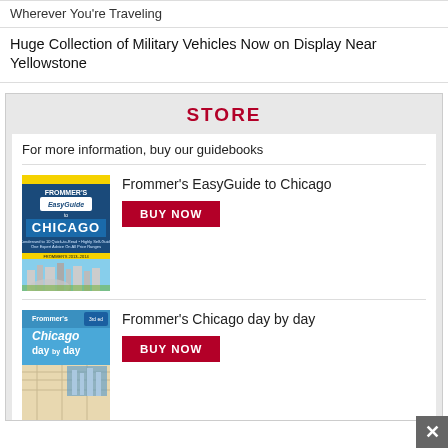Wherever You're Traveling
Huge Collection of Military Vehicles Now on Display Near Yellowstone
STORE
For more information, buy our guidebooks
[Figure (illustration): Cover of Frommer's EasyGuide to Chicago book showing the Bean sculpture and Chicago skyline]
Frommer's EasyGuide to Chicago
BUY NOW
[Figure (illustration): Cover of Frommer's Chicago day by day book showing Chicago map and city images]
Frommer's Chicago day by day
BUY NOW